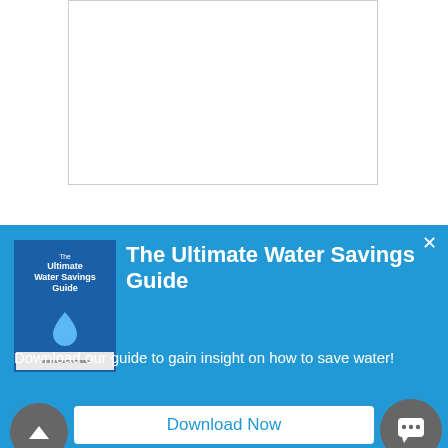[Figure (screenshot): Textarea input box (empty), part of a web form]
[Figure (screenshot): reCAPTCHA widget showing 'protected by reCAPTCHA' with Privacy and Terms links, and the reCAPTCHA logo on a gray background]
[Figure (screenshot): Popup overlay banner with book cover for 'The Ultimate Water Savings Guide', title text, description text, Download Now button, back-to-top arrow button, and chat button]
The Ultimate Water Savings Guide
Download our guide to gain insight on how to save water!
Download Now